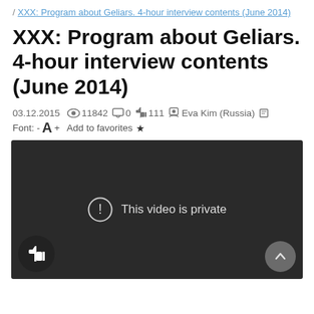/ XXX: Program about Geliars. 4-hour interview contents (June 2014)
XXX: Program about Geliars. 4-hour interview contents (June 2014)
03.12.2015  👁 11842  💬 0  👍 111  👤 Eva Kim (Russia)  🖨  Font: - A + Add to favorites ★
[Figure (screenshot): Embedded video player showing 'This video is private' message with exclamation icon, dark background, thumbs-up button at bottom left, and scroll-to-top button at bottom right.]